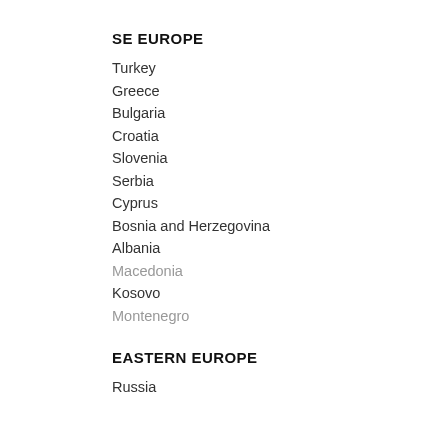SE EUROPE
Turkey
Greece
Bulgaria
Croatia
Slovenia
Serbia
Cyprus
Bosnia and Herzegovina
Albania
Macedonia
Kosovo
Montenegro
EASTERN EUROPE
Russia